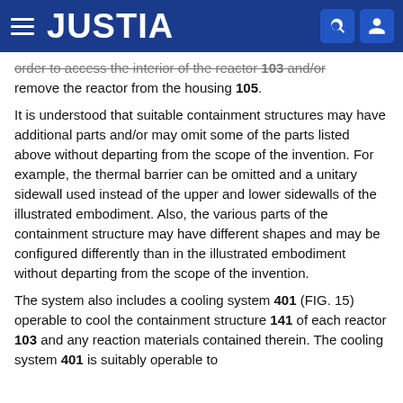JUSTIA
order to access the interior of the reactor 103 and/or remove the reactor from the housing 105.
It is understood that suitable containment structures may have additional parts and/or may omit some of the parts listed above without departing from the scope of the invention. For example, the thermal barrier can be omitted and a unitary sidewall used instead of the upper and lower sidewalls of the illustrated embodiment. Also, the various parts of the containment structure may have different shapes and may be configured differently than in the illustrated embodiment without departing from the scope of the invention.
The system also includes a cooling system 401 (FIG. 15) operable to cool the containment structure 141 of each reactor 103 and any reaction materials contained therein. The cooling system 401 is suitably operable to